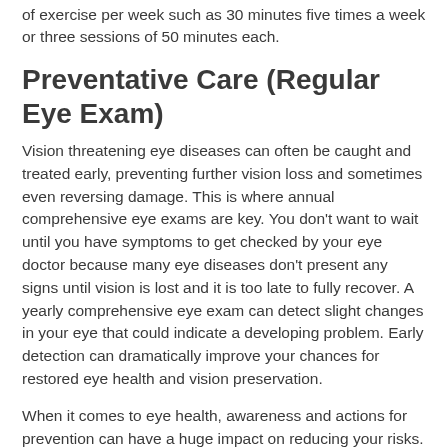of exercise per week such as 30 minutes five times a week or three sessions of 50 minutes each.
Preventative Care (Regular Eye Exam)
Vision threatening eye diseases can often be caught and treated early, preventing further vision loss and sometimes even reversing damage. This is where annual comprehensive eye exams are key. You don't want to wait until you have symptoms to get checked by your eye doctor because many eye diseases don't present any signs until vision is lost and it is too late to fully recover. A yearly comprehensive eye exam can detect slight changes in your eye that could indicate a developing problem. Early detection can dramatically improve your chances for restored eye health and vision preservation.
When it comes to eye health, awareness and actions for prevention can have a huge impact on reducing your risks. Don't wait until it is too late. Even small steps toward a healthier lifestyle can make a difference to your future eye health.